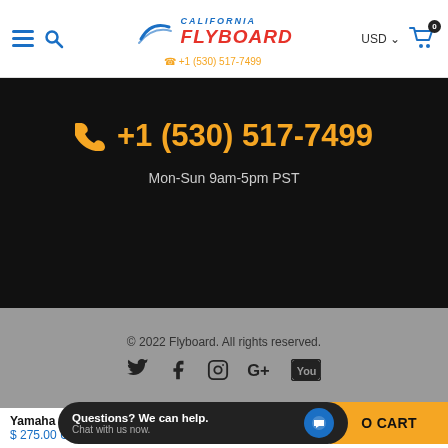California Flyboard — navigation header with hamburger menu, search, logo, +1 (530) 517-7499, USD, cart
+1 (530) 517-7499
Mon-Sun 9am-5pm PST
© 2022 Flyboard. All rights reserved.
Social icons: Twitter, Facebook, Instagram, Google+, YouTube
Yamaha Adapter Kit
$ 275.00 USD
Questions? We can help. Chat with us now.
ADD TO CART